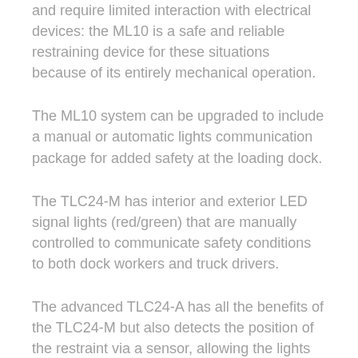and require limited interaction with electrical devices: the ML10 is a safe and reliable restraining device for these situations because of its entirely mechanical operation.
The ML10 system can be upgraded to include a manual or automatic lights communication package for added safety at the loading dock.
The TLC24-M has interior and exterior LED signal lights (red/green) that are manually controlled to communicate safety conditions to both dock workers and truck drivers.
The advanced TLC24-A has all the benefits of the TLC24-M but also detects the position of the restraint via a sensor, allowing the lights to